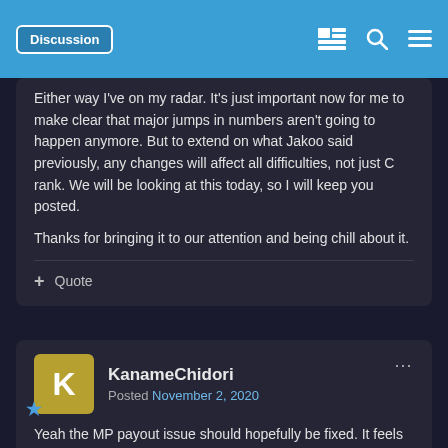Discussion
Either way I've on my radar. It's just important now for me to make clear that major jumps in numbers aren't going to happen anymore. But to extend on what Jakoo said previously, any changes will affect all difficulties, not just C rank. We will be looking at this today, so I will keep you posted.

Thanks for bringing it to our attention and being chill about it.
+ Quote
KanameChidori
Posted November 2, 2020
Yeah the MP payout issue should hopefully be fixed. It feels like roughly half what it should be, and after reading Marm's post it sounds like that was exactly it. Also the increased type